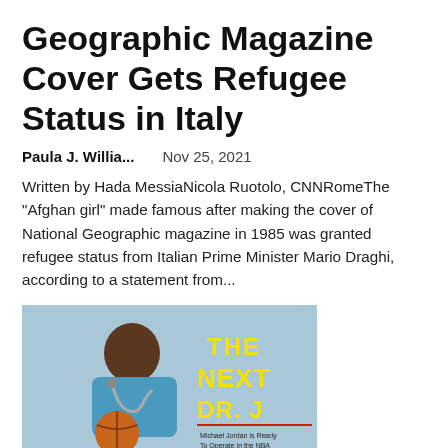Geographic Magazine Cover Gets Refugee Status in Italy
Paula J. Willia...    Nov 25, 2021
Written by Hada MessiaNicola Ruotolo, CNNRomeThe "Afghan girl" made famous after making the cover of National Geographic magazine in 1985 was granted refugee status from Italian Prime Minister Mario Draghi, according to a statement from...
[Figure (photo): Magazine cover showing a young man wearing a stethoscope and holding a basketball, with text 'THE NEXT DR. J' in large yellow letters and smaller subtitle text]
Michael Jordan was dubbed "The Next Dr. J" on the